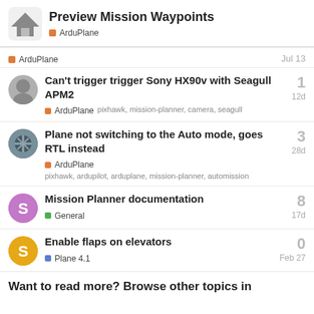Preview Mission Waypoints — ArduPlane
ArduPlane — Jul 13
Can't trigger trigger Sony HX90v with Seagull APM2 — ArduPlane, pixhawk, mission-planner, camera, seagull — 12d — replies: 1
Plane not switching to the Auto mode, goes RTL instead — ArduPlane, pixhawk, ardupilot, arduplane, mission-planner, automission — 28d — replies: 3
Mission Planner documentation — General — 17d — replies: 8
Enable flaps on elevators — Plane 4.1 — Feb 27 — replies: 0
Want to read more? Browse other topics in